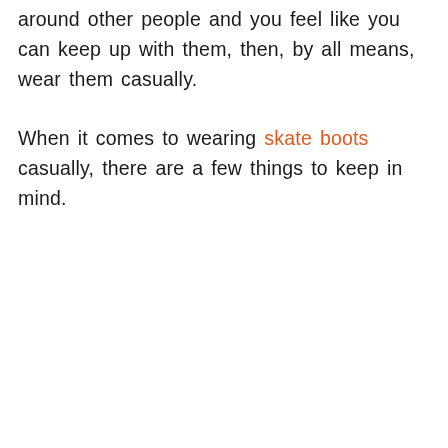around other people and you feel like you can keep up with them, then, by all means, wear them casually.
When it comes to wearing skate boots casually, there are a few things to keep in mind.